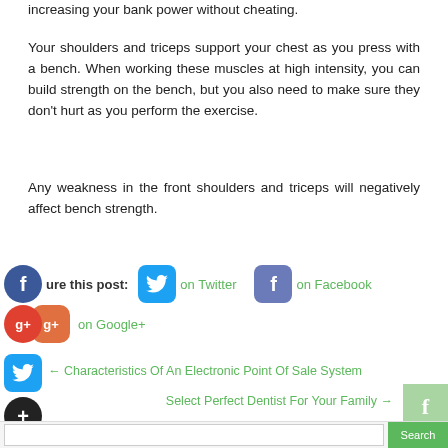increasing your bank power without cheating.
Your shoulders and triceps support your chest as you press with a bench. When working these muscles at high intensity, you can build strength on the bench, but you also need to make sure they don't hurt as you perform the exercise.
Any weakness in the front shoulders and triceps will negatively affect bench strength.
[Figure (infographic): Social media share buttons row: Facebook icon with 'ure this post:', Twitter bird icon with 'on Twitter', Facebook logo icon with 'on Facebook', Google+ icon with 'on Google+']
[Figure (infographic): Navigation links: Twitter bird icon, left arrow link 'Characteristics Of An Electronic Point Of Sale System', plus icon, 'Select Perfect Dentist For Your Family' right arrow link, floating Facebook button bottom right]